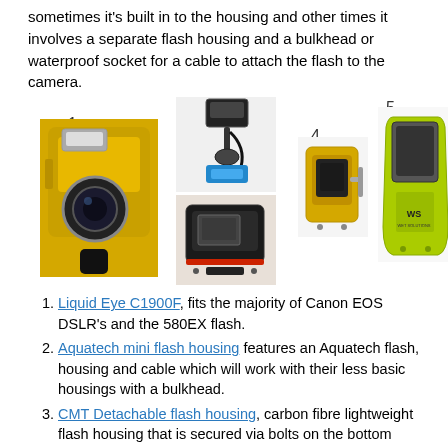sometimes it's built in to the housing and other times it involves a separate flash housing and a bulkhead or waterproof socket for a cable to attach the flash to the camera.
[Figure (photo): Five numbered underwater photography flash housings and accessories: 1) Liquid Eye C1900F yellow camera housing with flash, 2) Aquatech mini flash on mount, 3) CMT black detachable flash housing, 4) small yellow flash housing, 5) green Wet Solutions flash housing.]
Liquid Eye C1900F, fits the majority of Canon EOS DSLR's and the 580EX flash.
Aquatech mini flash housing features an Aquatech flash, housing and cable which will work with their less basic housings with a bulkhead.
CMT Detachable flash housing, carbon fibre lightweight flash housing that is secured via bolts on the bottom